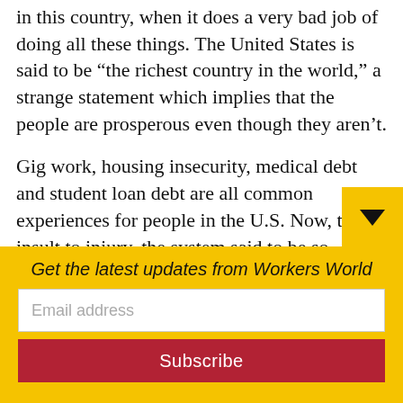in this country, when it does a very bad job of doing all these things. The United States is said to be “the richest country in the world,” a strange statement which implies that the people are prosperous even though they aren’t.
Gig work, housing insecurity, medical debt and student loan debt are all common experiences for people in the U.S. Now, to add insult to injury, the system said to be so superior can’t even keep little babies fed.
There is an historic shortage of baby
Get the latest updates from Workers World
Email address
Subscribe